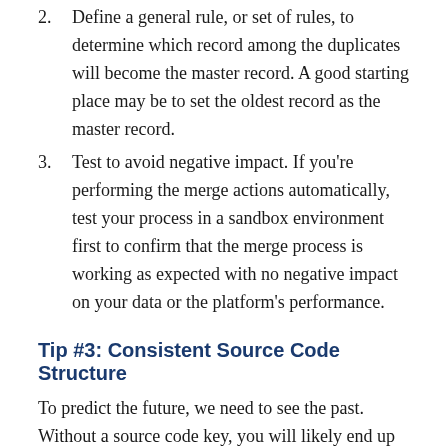2. Define a general rule, or set of rules, to determine which record among the duplicates will become the master record. A good starting place may be to set the oldest record as the master record.
3. Test to avoid negative impact. If you're performing the merge actions automatically, test your process in a sandbox environment first to confirm that the merge process is working as expected with no negative impact on your data or the platform's performance.
Tip #3: Consistent Source Code Structure
To predict the future, we need to see the past. Without a source code key, you will likely end up